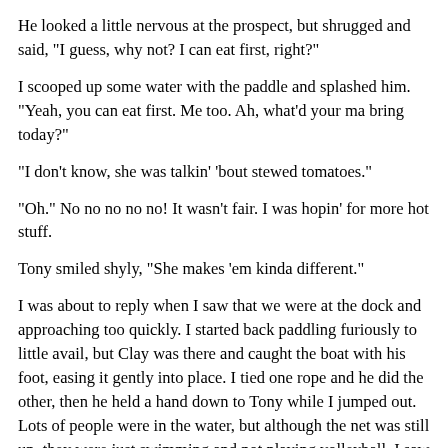He looked a little nervous at the prospect, but shrugged and said, "I guess, why not? I can eat first, right?"
I scooped up some water with the paddle and splashed him. "Yeah, you can eat first. Me too. Ah, what'd your ma bring today?"
"I don't know, she was talkin' 'bout stewed tomatoes."
"Oh." No no no no no! It wasn't fair. I was hopin' for more hot stuff.
Tony smiled shyly, "She makes 'em kinda different."
I was about to reply when I saw that we were at the dock and approaching too quickly. I started back paddling furiously to little avail, but Clay was there and caught the boat with his foot, easing it gently into place. I tied one rope and he did the other, then he held a hand down to Tony while I jumped out. Lots of people were in the water, but although the net was still up, they were just swimming and not playing volleyball. I saw Jed on the little beach making a sand castle with Missy Goldman, so I thanked Clay for his help, told Tony I'd see him at the grills, and ran over to where Jed was.
"Jeddy! Hi, Missy!"